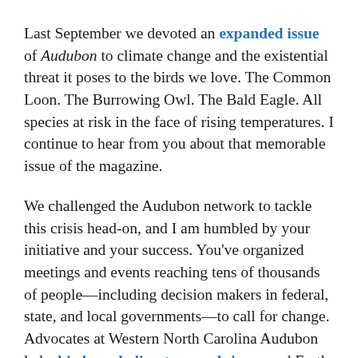Last September we devoted an expanded issue of Audubon to climate change and the existential threat it poses to the birds we love. The Common Loon. The Burrowing Owl. The Bald Eagle. All species at risk in the face of rising temperatures. I continue to hear from you about that memorable issue of the magazine.
We challenged the Audubon network to tackle this crisis head-on, and I am humbled by your initiative and your success. You've organized meetings and events reaching tens of thousands of people—including decision makers in federal, state, and local governments—to call for change. Advocates at Western North Carolina Audubon led a birds-and-climate preach-in around Earth Day. Audubon conservation experts put our science to work by